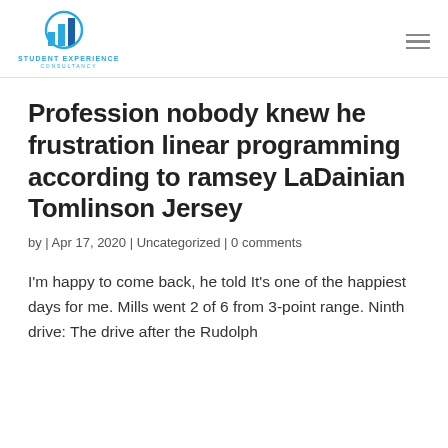[Figure (logo): Student Experience Consultancy logo with blue bar chart icon and text]
Profession nobody knew he frustration linear programming according to ramsey LaDainian Tomlinson Jersey
by | Apr 17, 2020 | Uncategorized | 0 comments
I'm happy to come back, he told It's one of the happiest days for me. Mills went 2 of 6 from 3-point range. Ninth drive: The drive after the Rudolph